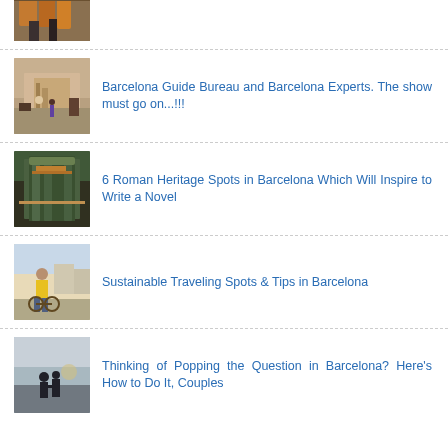[Figure (photo): Partial thumbnail of Barcelona scene, copper/orange tones]
Barcelona Guide Bureau and Barcelona Experts. The show must go on...!!!
6 Roman Heritage Spots in Barcelona Which Will Inspire to Write a Novel
Sustainable Traveling Spots & Tips in Barcelona
Thinking of Popping the Question in Barcelona? Here's How to Do It, Couples